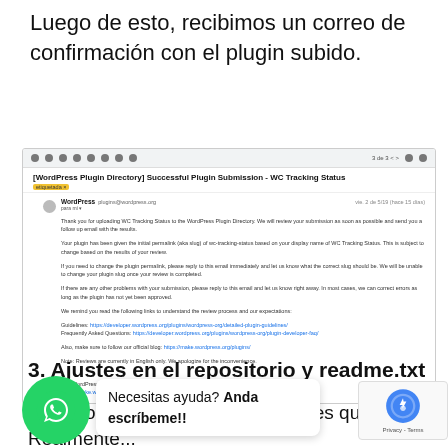Luego de esto, recibimos un correo de confirmación con el plugin subido.
[Figure (screenshot): Screenshot of a Gmail email with subject '[WordPress Plugin Directory] Successful Plugin Submission - WC Tracking Status'. The email is from WordPress (plugins@wordpress.org) and contains text about uploading WC Tracking Status to the WordPress Plugin Directory, plugin permalink (slug), instructions for changing the slug, and links to guidelines and FAQ.]
3. Ajustes en el repositorio y readme.txt
...wordpress.org nos responde con ajustes que hacer. Realmente...
[Figure (other): WhatsApp chat bubble (green circle with WhatsApp icon) with a popup saying 'Necesitas ayuda? Anda escríbeme!!']
[Figure (other): reCAPTCHA widget showing the reCAPTCHA logo and 'Privacy - Terms' text]